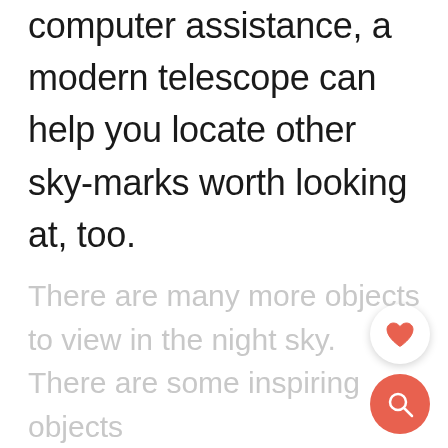computer assistance, a modern telescope can help you locate other sky-marks worth looking at, too.
[Figure (illustration): Heart/favorite button with count 76 and a coral/red search button, UI overlay elements]
There are many more objects to view in the night sky. There are some inspiring objects